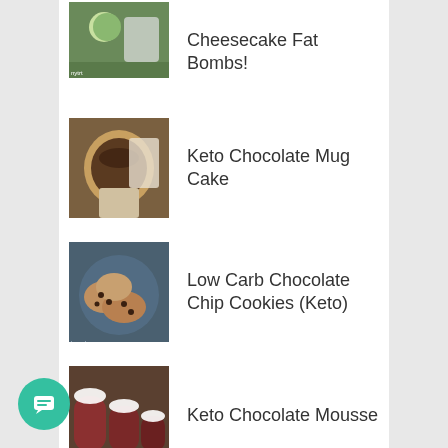Cheesecake Fat Bombs!
Keto Chocolate Mug Cake
Low Carb Chocolate Chip Cookies (Keto)
Keto Chocolate Mousse
The best roasted Brussels sprouts you're about to try